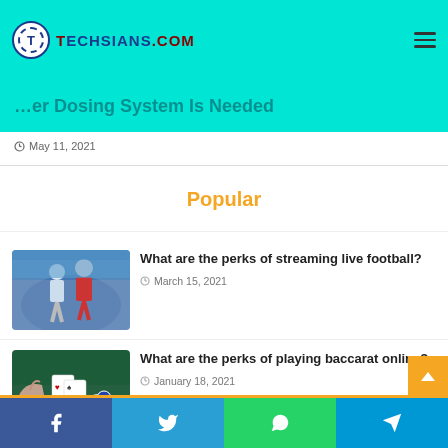TECHSIANS.COM
...er Dosing System Is Needed
May 11, 2021
Popular
What are the perks of streaming live football?
March 15, 2021
What are the perks of playing baccarat online?
January 18, 2021
[Figure (photo): Two football players competing on a pitch]
[Figure (photo): Hand placing playing cards on a green casino table with chips]
[Figure (photo): Partially visible third article image]
Facebook | Twitter | WhatsApp | Telegram